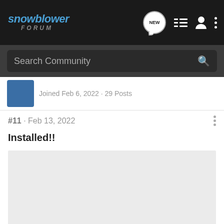snowblower FORUM
Search Community
Joined Feb 6, 2022 · 29 Posts
#11 · Feb 13, 2022
Installed!!
[Figure (photo): Gray placeholder image area for an attached photo in the forum post]